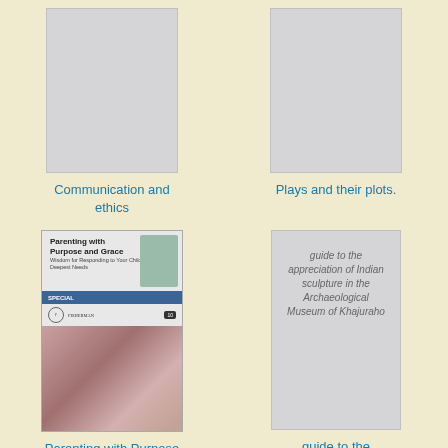[Figure (illustration): Gray placeholder book cover for 'Communication and ethics']
Communication and ethics
[Figure (illustration): Gray placeholder book cover for 'Plays and their plots.']
Plays and their plots.
[Figure (photo): Book cover of 'Parenting with Purpose and Grace' published by Fisherman, showing a parent and child photo]
Parenting with Purpose and Grace
[Figure (illustration): Gray placeholder book cover with text 'guide to the appreciation of Indian sculpture in the Archaeological Museum of Khajuraho']
guide to the appreciation of Indian sculpture in the